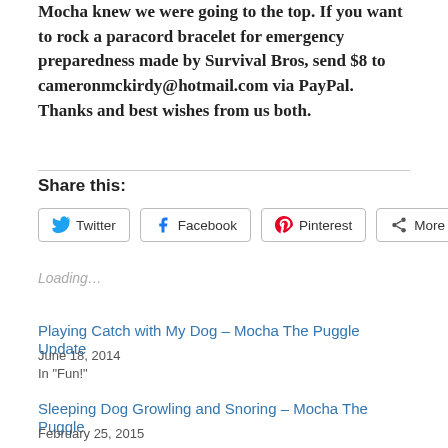Mocha knew we were going to the top.  If you want to rock a paracord bracelet for emergency preparedness made by Survival Bros, send $8 to cameronmckirdy@hotmail.com via PayPal.  Thanks and best wishes from us both.
Share this:
Twitter  Facebook  Pinterest  More
Loading…
Playing Catch with My Dog – Mocha The Puggle Update
June 18, 2014
In "Fun!"
Sleeping Dog Growling and Snoring – Mocha The Puggle
February 25, 2015